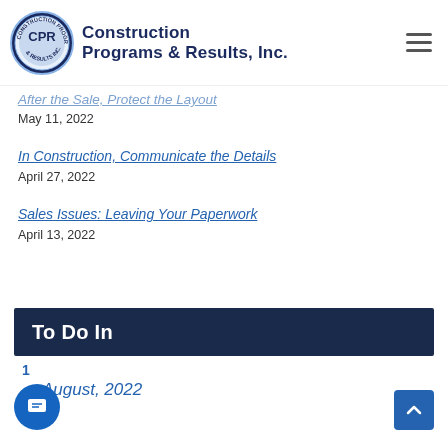[Figure (logo): Construction Programs & Results, Inc. logo with circular emblem and company name]
After the Sale, Protect Layout
May 11, 2022
In Construction, Communicate the Details
April 27, 2022
Sales Issues: Leaving Your Paperwork
April 13, 2022
To Do In
1
August, 2022